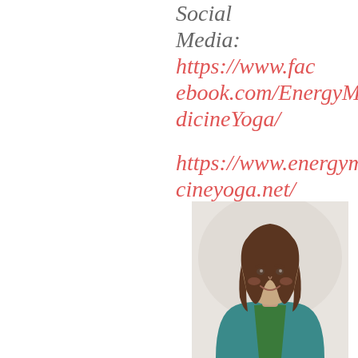Social Media: https://www.facebook.com/EnergyMedicineYoga/

https://www.energymedicineyoga.net/
[Figure (photo): Headshot of a smiling woman with shoulder-length brown hair, wearing a teal cardigan over a green top, against a light background.]